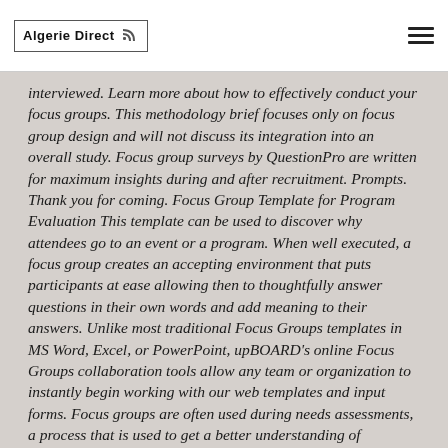Algerie Direct
interviewed. Learn more about how to effectively conduct your focus groups. This methodology brief focuses only on focus group design and will not discuss its integration into an overall study. Focus group surveys by QuestionPro are written for maximum insights during and after recruitment. Prompts. Thank you for coming. Focus Group Template for Program Evaluation This template can be used to discover why attendees go to an event or a program. When well executed, a focus group creates an accepting environment that puts participants at ease allowing then to thoughtfully answer questions in their own words and add meaning to their answers. Unlike most traditional Focus Groups templates in MS Word, Excel, or PowerPoint, upBOARD's online Focus Groups collaboration tools allow any team or organization to instantly begin working with our web templates and input forms. Focus groups are often used during needs assessments, a process that is used to get a better understanding of community needs and